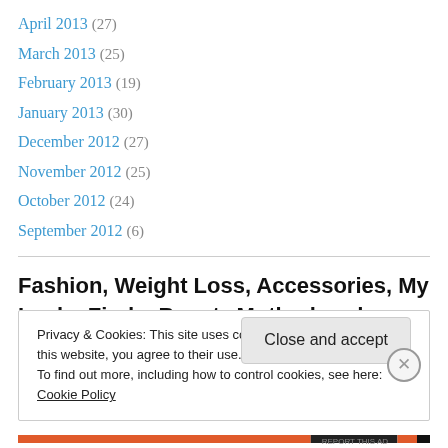April 2013 (27)
March 2013 (25)
February 2013 (19)
January 2013 (30)
December 2012 (27)
November 2012 (25)
October 2012 (24)
September 2012 (6)
Fashion, Weight Loss, Accessories, My Lucky Finds, Beauty,Motherhood
Privacy & Cookies: This site uses cookies. By continuing to use this website, you agree to their use.
To find out more, including how to control cookies, see here: Cookie Policy